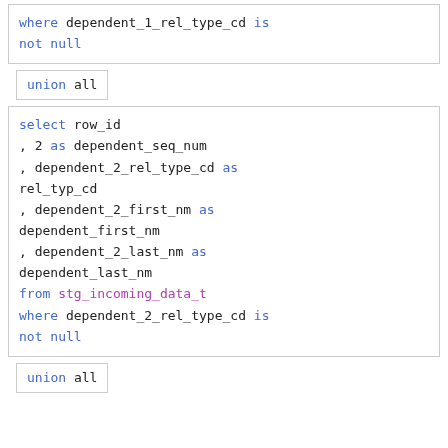where dependent_1_rel_type_cd is not null
union all
select row_id , 2 as dependent_seq_num , dependent_2_rel_type_cd as rel_typ_cd , dependent_2_first_nm as dependent_first_nm , dependent_2_last_nm as dependent_last_nm from stg_incoming_data_t where dependent_2_rel_type_cd is not null
union all